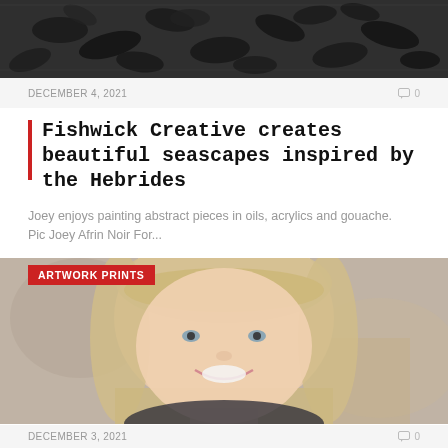[Figure (photo): Close-up photo of dark mussels or shellfish on a rocky seascape surface]
DECEMBER 4, 2021
Fishwick Creative creates beautiful seascapes inspired by the Hebrides
Joey enjoys painting abstract pieces in oils, acrylics and gouache. Pic Joey Afrin Noir For...
[Figure (photo): Portrait photo of a smiling woman with blonde bob haircut, with an ARTWORK PRINTS label overlay]
DECEMBER 3, 2021